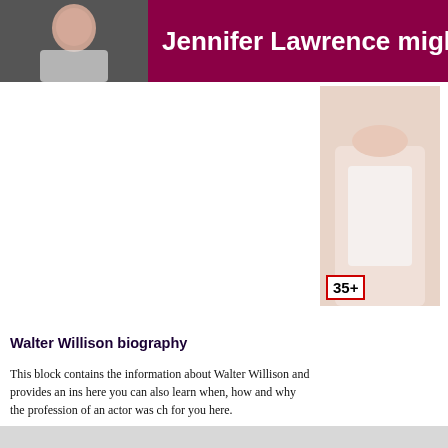Jennifer Lawrence might join Chris Mar...
[Figure (photo): Photo of Jennifer Lawrence in header]
[Figure (photo): Photo of a person, partially cropped, with age badge '35+']
Walter Willison biography
This block contains the information about Walter Willison and provides an ins... here you can also learn when, how and why the profession of an actor was ch... for you here.
Walter Willison garnered a Tony Award nomination and Theatre World Award... Richard Rodgers' Two By Two, directed by Joe Layton, as Japheth, youngest...
Where Walter Willison born?
With the help of the Google satellite map you can find the place where Walter... out you can see the place itself and the area it is situated in and nearby. Find o... you can see the place itself even not traveling.